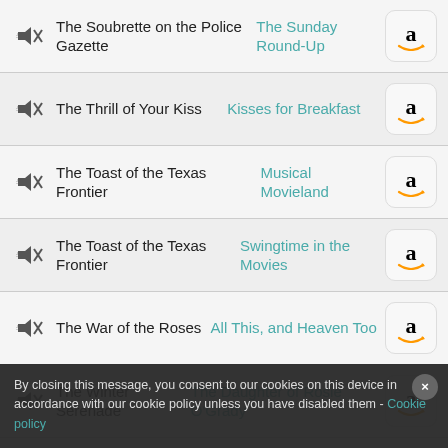The Soubrette on the Police Gazette | The Sunday Round-Up
The Thrill of Your Kiss | Kisses for Breakfast
The Toast of the Texas Frontier | Musical Movieland
The Toast of the Texas Frontier | Swingtime in the Movies
The War of the Roses | All This, and Heaven Too
The Winter Serenade | The Daughter of Rosie O'Grady
The Wish That I Wish Tonight | Christmas in Campuslicht
This is Swing | Campus Cinderella
By closing this message, you consent to our cookies on this device in accordance with our cookie policy unless you have disabled them - Cookie policy